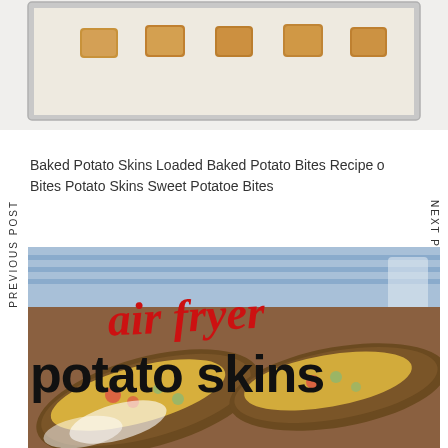[Figure (photo): Top portion of a baking sheet with small baked potato bites on parchment paper, partially cropped]
Baked Potato Skins Loaded Baked Potato Bites Recipe o Bites Potato Skins Sweet Potatoe Bites
[Figure (photo): Air fryer potato skins recipe image with red cursive text 'air fryer' and bold black text 'potato skins' overlaid on a photo of loaded potato skins with cheese, bacon and green onions]